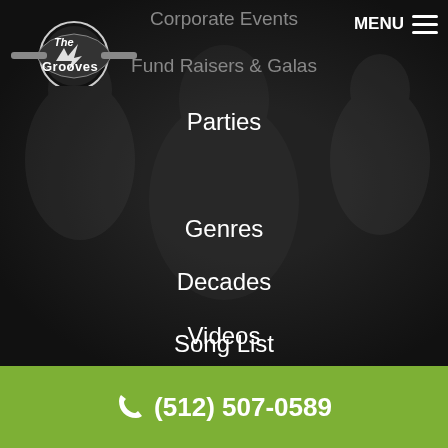[Figure (logo): The Grooves band logo with guitar and circular emblem]
MENU ☰
Corporate Events
Fund Raisers & Galas
Parties
Genres
Decades
Videos
Song List
☎ (512) 507-0589